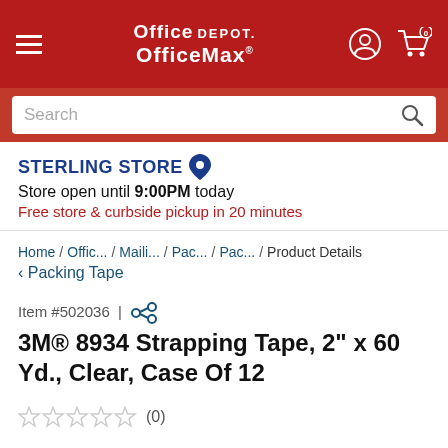Office Depot OfficeMax
Search
STERLING STORE
Store open until 9:00PM today
Free store & curbside pickup in 20 minutes
Home / Offic... / Maili... / Pac... / Pac... / Product Details
< Packing Tape
Item #502036 |
3M® 8934 Strapping Tape, 2" x 60 Yd., Clear, Case Of 12
★★★★★ (0)